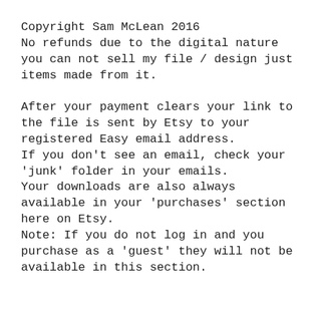Copyright Sam McLean 2016
No refunds due to the digital nature
you can not sell my file / design just items made from it.
After your payment clears your link to the file is sent by Etsy to your registered Easy email address.
If you don't see an email, check your 'junk' folder in your emails.
Your downloads are also always available in your 'purchases' section here on Etsy.
Note: If you do not log in and you purchase as a 'guest' they will not be available in this section.